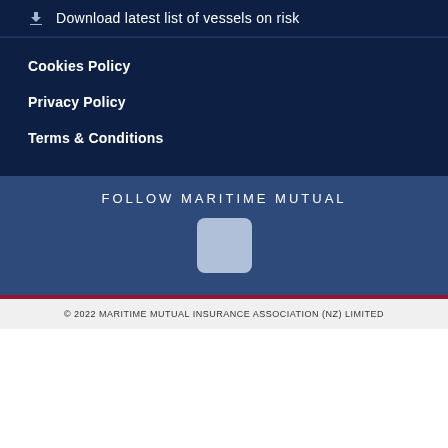Download latest list of vessels on risk
Cookies Policy
Privacy Policy
Terms & Conditions
FOLLOW MARITIME MUTUAL
[Figure (logo): LinkedIn social media icon button, light blue rounded square]
© 2022 MARITIME MUTUAL INSURANCE ASSOCIATION (NZ) LIMITED